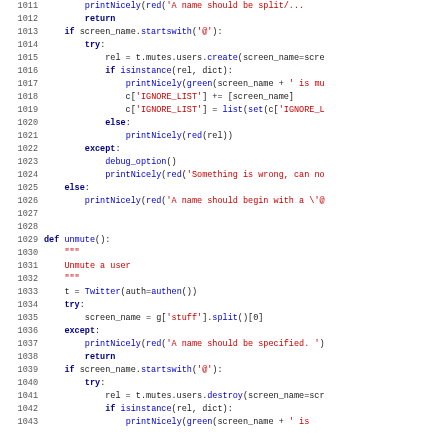[Figure (screenshot): Source code listing showing Python code for mute/unmute Twitter user functions, lines 1011-1043, with syntax highlighting: keywords in bold dark blue, strings in red, function names in blue.]